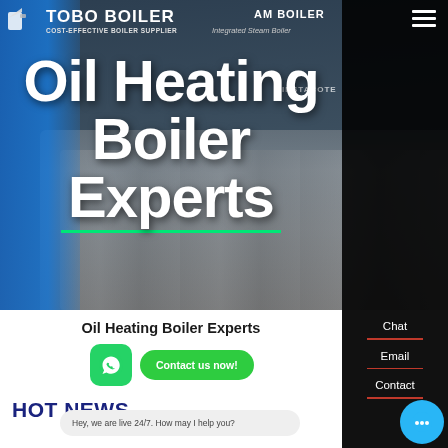[Figure (screenshot): TOBO Boiler website hero banner showing industrial boilers with blue structural elements and dark overlay. Logo in top left reads TOBO BOILER with COST-EFFECTIVE BOILER SUPPLIER subtitle. Navigation hamburger menu top right.]
Oil Heating Boiler Experts
Oil Heating Boiler Experts
[Figure (logo): WhatsApp green circular icon]
Contact us now!
HOT NEWS
Hey, we are live 24/7. How may I help you?
boiler Agent for food dehydrator factory